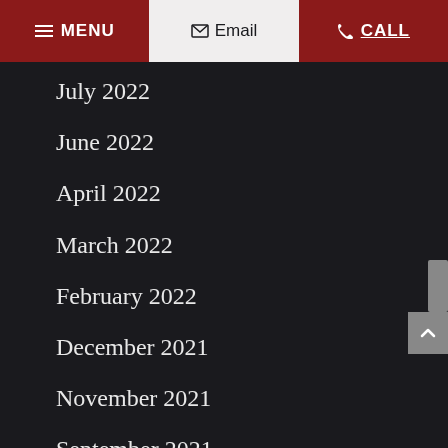MENU   Email   CALL
July 2022
June 2022
April 2022
March 2022
February 2022
December 2021
November 2021
September 2021
July 2021
May 2021
April 2021